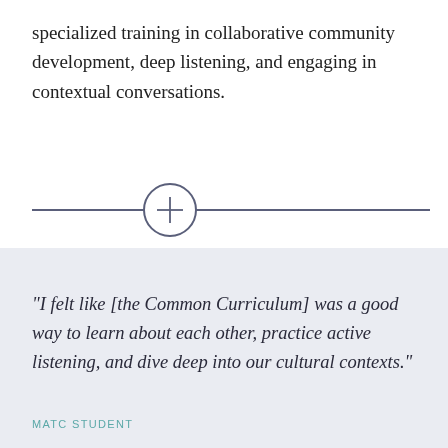specialized training in collaborative community development, deep listening, and engaging in contextual conversations.
[Figure (other): A horizontal divider line with a circle containing a plus sign on the left side]
“I felt like [the Common Curriculum] was a good way to learn about each other, practice active listening, and dive deep into our cultural contexts.”
MATC STUDENT